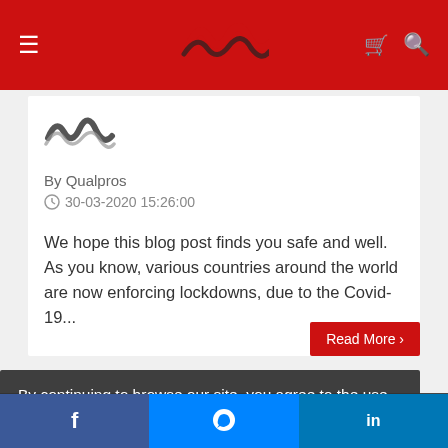Qualpros website header with navigation menu, logo, cart and search icons
[Figure (logo): Small grayscale Qualpros sound-wave logo used as author avatar]
By Qualpros
30-03-2020 15:26:00
We hope this blog post finds you safe and well. As you know, various countries around the world are now enforcing lockdowns, due to the Covid-19...
Read More >
By continuing to browse our site, you agree to the use of cookies and our Privacy Policy.
OK
Facebook | Messenger | LinkedIn social share bar